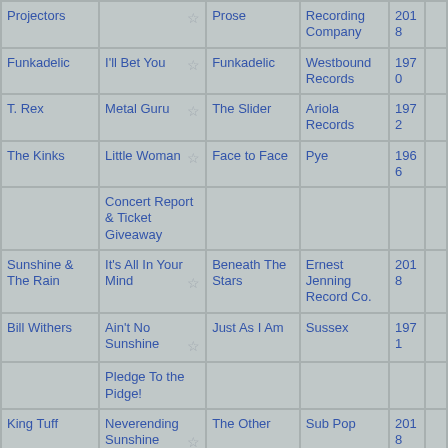| Artist | Song | Album | Label | Year |  |
| --- | --- | --- | --- | --- | --- |
| Projectors |  | Prose | Recording Company | 2018 |  |
| Funkadelic | I'll Bet You ☆ | Funkadelic | Westbound Records | 1970 |  |
| T. Rex | Metal Guru ☆ | The Slider | Ariola Records | 1972 |  |
| The Kinks | Little Woman ☆ | Face to Face | Pye | 1966 |  |
|  | Concert Report & Ticket Giveaway |  |  |  |  |
| Sunshine & The Rain | It's All In Your Mind ☆ | Beneath The Stars | Ernest Jenning Record Co. | 2018 |  |
| Bill Withers | Ain't No Sunshine ☆ | Just As I Am | Sussex | 1971 |  |
|  | Pledge To the Pidge! |  |  |  |  |
| King Tuff | Neverending Sunshine ☆ | The Other | Sub Pop | 2018 |  |